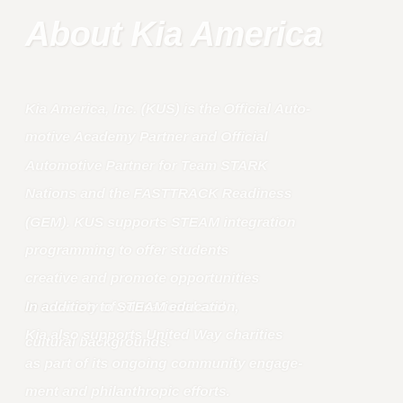About Kia America
Kia America, Inc. (KUS) is the Official Automotive Academy Partner and Official Automotive Partner for Team STARK Nations and the FASTTRACK Readiness (GEM). KUS supports STEAM integration programming to offer students creative and promote opportunities in a variety of educational and cultural backgrounds.
In addition to STEAM education, Kia also supports United Way charities as part of its ongoing community engagement and philanthropic efforts.